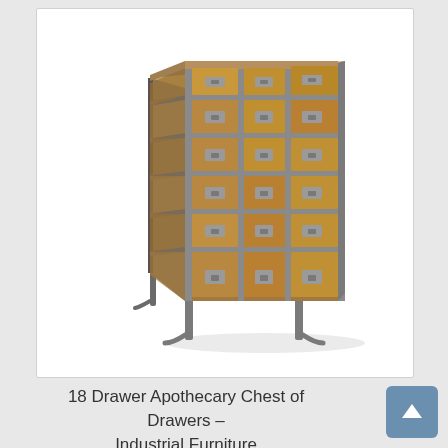[Figure (photo): An 18-drawer apothecary chest of drawers with wooden drawers and a dark metal frame, shown in a perspective view. The piece features metal label holders on each drawer and stands on curved metal legs.]
18 Drawer Apothecary Chest of Drawers – Industrial Furniture